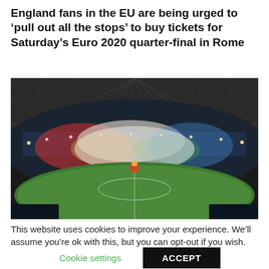England fans in the EU are being urged to ‘pull out all the stops’ to buy tickets for Saturday’s Euro 2020 quarter-final in Rome
[Figure (photo): Wide-angle photograph inside a large stadium at night with colorful smoke/fireworks during a pre-match ceremony, stands filled with spectators, green football pitch visible below, roof panels overhead.]
This website uses cookies to improve your experience. We’ll assume you’re ok with this, but you can opt-out if you wish.
Cookie settings    ACCEPT